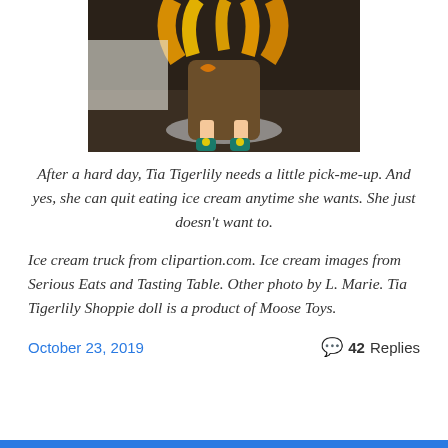[Figure (photo): Close-up photo of a doll (Tia Tigerlily Shoppie doll) with yellow/orange hair, wearing teal shoes with yellow flower decorations, on a dark surface]
After a hard day, Tia Tigerlily needs a little pick-me-up. And yes, she can quit eating ice cream anytime she wants. She just doesn't want to.
Ice cream truck from clipartion.com. Ice cream images from Serious Eats and Tasting Table. Other photo by L. Marie. Tia Tigerlily Shoppie doll is a product of Moose Toys.
October 23, 2019
42 Replies